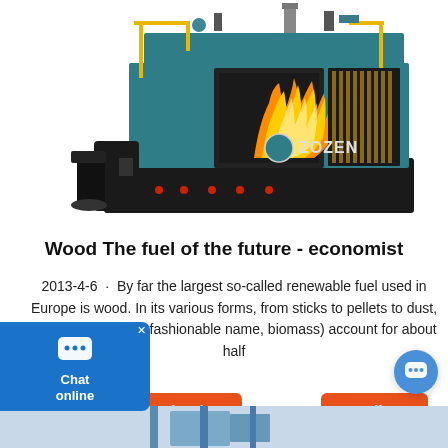[Figure (photo): ZOZEN industrial biomass/wood-fired boiler with blue body, yellow safety railings, open firebox showing flame, and black fuel feeder on the left side.]
Wood The fuel of the future - economist
2013-4-6 · By far the largest so-called renewable fuel used in Europe is wood. In its various forms, from sticks to pellets to dust, wood (or to use its fashionable name, biomass) account for about half
[Figure (screenshot): Bottom strip showing partial view of industrial equipment image.]